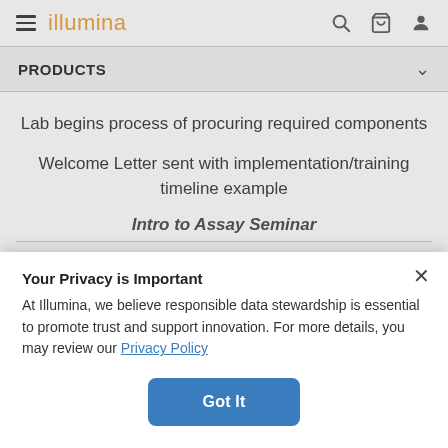illumina — navigation bar with hamburger menu, search, cart, and user icons
PRODUCTS
Lab begins process of procuring required components
Welcome Letter sent with implementation/training timeline example
Intro to Assay Seminar
Your Privacy is Important
At Illumina, we believe responsible data stewardship is essential to promote trust and support innovation. For more details, you may review our Privacy Policy
Got It